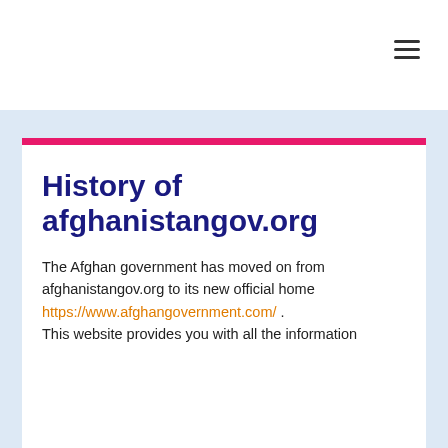History of afghanistangov.org
The Afghan government has moved on from afghanistangov.org to its new official home https://www.afghangovernment.com/ . This website provides you with all the information